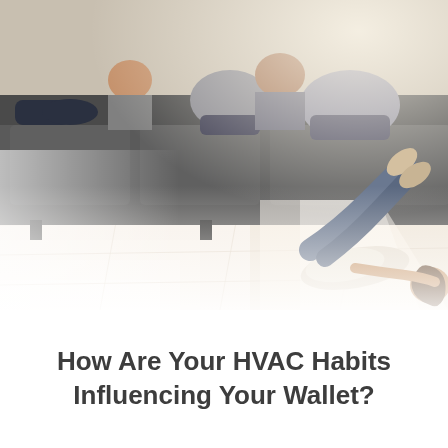[Figure (photo): A family relaxing in a living room. Two adults sit on a dark grey sofa with sunlight streaming through windows illuminating light tile floors. A young girl wearing jeans and a white top lies on her stomach on the bright sunlit floor in the foreground on the right side.]
How Are Your HVAC Habits Influencing Your Wallet?